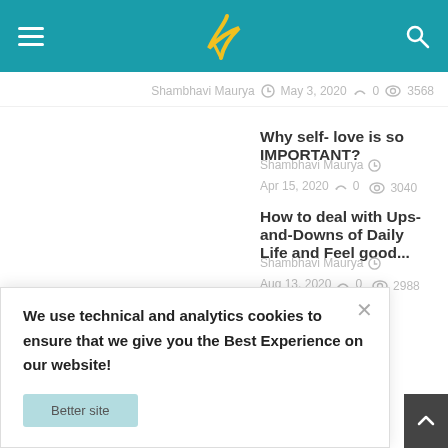Navigation bar with hamburger menu, logo, and search icon on teal background
Shambhavi Maurya  May 3, 2020  0  3568
Why self- love is so IMPORTANT?
Shambhavi Maurya  Apr 15, 2020  0  3040
How to deal with Ups-and-Downs of Daily Life and Feel good...
Shambhavi Maurya  Aug 13, 2020  0  2988
We use technical and analytics cookies to ensure that we give you the Best Experience on our website!